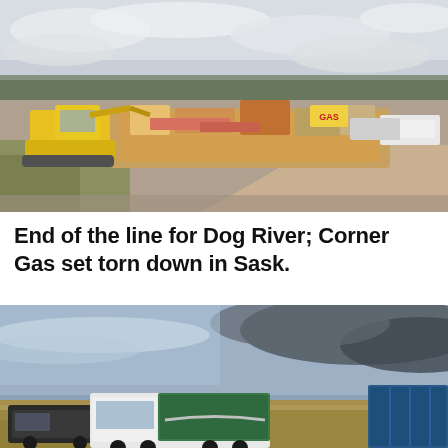[Figure (photo): Demolition scene showing an excavator and debris from a torn-down building. A yellow excavator is on the left, rubble and demolished structure material in the center, a 'GAS' sign visible among debris, vehicles and flat prairie in background under overcast sky.]
End of the line for Dog River; Corner Gas set torn down in Sask.
[Figure (photo): Open prairie landscape under dramatic cloudy sky with a white dump truck (green box) in the center foreground and a partial blue container on the right edge. Flat Saskatchewan farmland stretches to the horizon.]